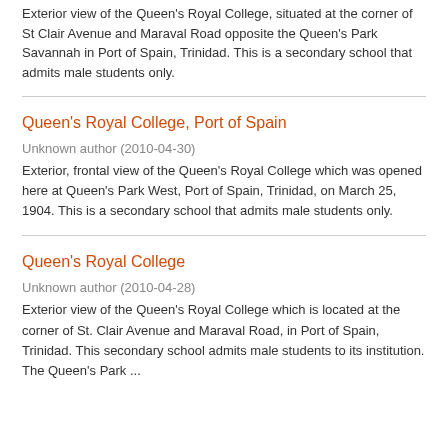Exterior view of the Queen's Royal College, situated at the corner of St Clair Avenue and Maraval Road opposite the Queen's Park Savannah in Port of Spain, Trinidad. This is a secondary school that admits male students only.
Queen's Royal College, Port of Spain
Unknown author (2010-04-30)
Exterior, frontal view of the Queen's Royal College which was opened here at Queen's Park West, Port of Spain, Trinidad, on March 25, 1904. This is a secondary school that admits male students only.
Queen's Royal College
Unknown author (2010-04-28)
Exterior view of the Queen's Royal College which is located at the corner of St. Clair Avenue and Maraval Road, in Port of Spain, Trinidad. This secondary school admits male students to its institution. The Queen's Park ...